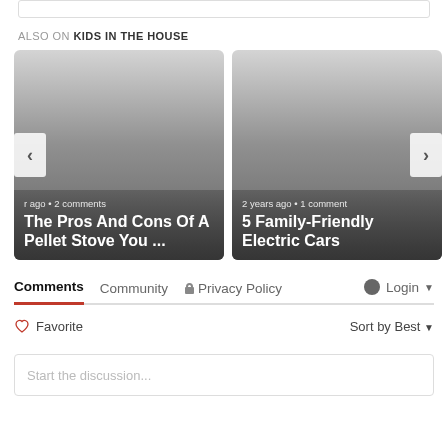ALSO ON KIDS IN THE HOUSE
[Figure (screenshot): Card: The Pros And Cons Of A Pellet Stove You ... — r ago • 2 comments]
[Figure (screenshot): Card: 5 Family-Friendly Electric Cars — 2 years ago • 1 comment]
Comments  Community  🔒 Privacy Policy  💬 Login ▼
♡ Favorite
Sort by Best ▼
Start the discussion...